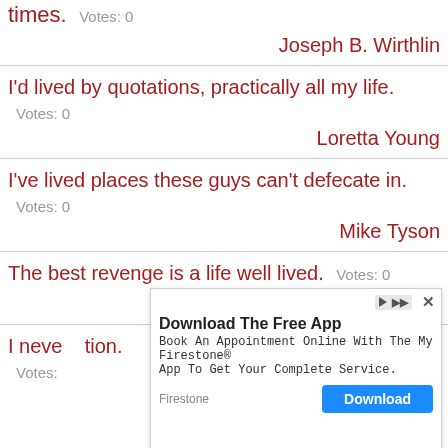times.   Votes: 0
Joseph B. Wirthlin
I'd lived by quotations, practically all my life.
Votes: 0
Loretta Young
I've lived places these guys can't defecate in.
Votes: 0
Mike Tyson
The best revenge is a life well lived.   Votes: 0
Chloe Neill
I neve... tion.
Votes:
[Figure (screenshot): Advertisement overlay: Download The Free App - Book An Appointment Online With The My Firestone App To Get Your Complete Service. Firestone. Download button.]